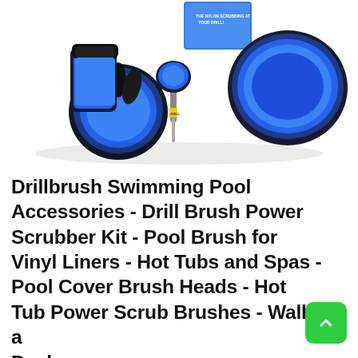[Figure (photo): Product photo showing a set of blue and black Drillbrush drill-powered scrubbing brushes of various sizes arranged against a white background, with a product box visible in the background.]
Drillbrush Swimming Pool Accessories - Drill Brush Power Scrubber Kit - Pool Brush for Vinyl Liners - Hot Tubs and Spas - Pool Cover Brush Heads - Hot Tub Power Scrub Brushes - Walls and Deck